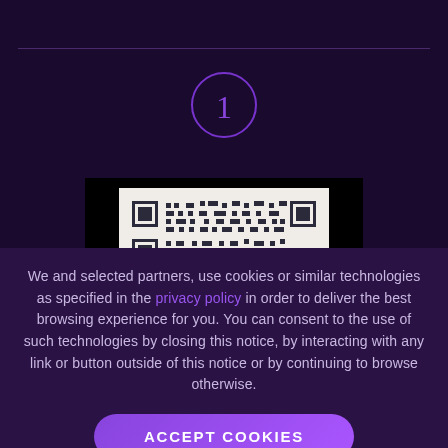[Figure (other): Circled number 1 in purple outline on dark background]
[Figure (other): QR code displayed on a black banner background]
We and selected partners, use cookies or similar technologies as specified in the privacy policy in order to deliver the best browsing experience for you. You can consent to the use of such technologies by closing this notice, by interacting with any link or button outside of this notice or by continuing to browse otherwise.